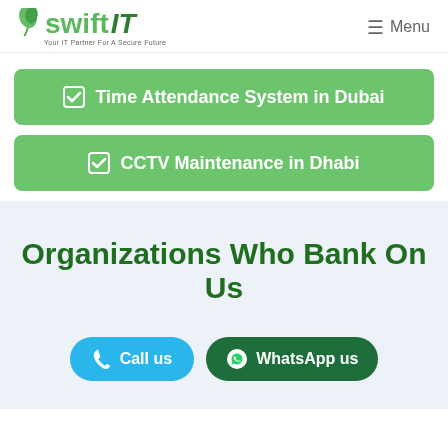[Figure (logo): SwiftIT logo with green leaf and tagline 'Your IT Partner For A Secure Future']
✓ Time Attendance System in Dubai
✓ CCTV Maintenance in Dhabi
Organizations Who Bank On Us
Call us
WhatsApp us